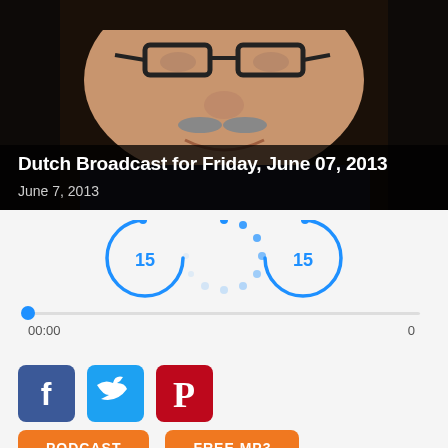[Figure (photo): Close-up photo of an elderly man with glasses and a mustache, smiling, against a dark background. Below the photo is a dark/black banner area.]
Dutch Broadcast for Friday, June 07, 2013
June 7, 2013
[Figure (infographic): Audio player controls: rewind 15 seconds button (blue arc with 15), loading spinner (dotted circle), fast-forward 15 seconds button (blue arc with 15). Below is a progress bar with a blue dot at the start, showing time 00:00 on the left and 0 on the right.]
[Figure (infographic): Social media share buttons: Facebook (blue square with f icon), Twitter (blue square with bird icon), Pinterest (dark red square with P icon).]
[Figure (infographic): Two orange rounded buttons: PODCAST and FREE MP3]